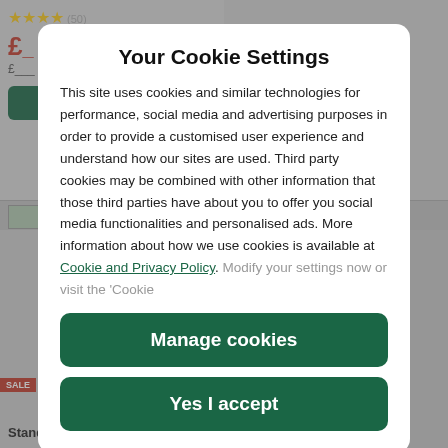[Figure (screenshot): Background product listing page showing star ratings, prices in GBP (red £), green add-to-basket buttons, product thumbnails, sale badge, and product names 'Standard 100% Whey' and 'Protein Powder Salted' partially visible]
Your Cookie Settings
This site uses cookies and similar technologies for performance, social media and advertising purposes in order to provide a customised user experience and understand how our sites are used. Third party cookies may be combined with other information that those third parties have about you to offer you social media functionalities and personalised ads. More information about how we use cookies is available at Cookie and Privacy Policy. Modify your settings now or visit the 'Cookie
Manage cookies
Yes I accept